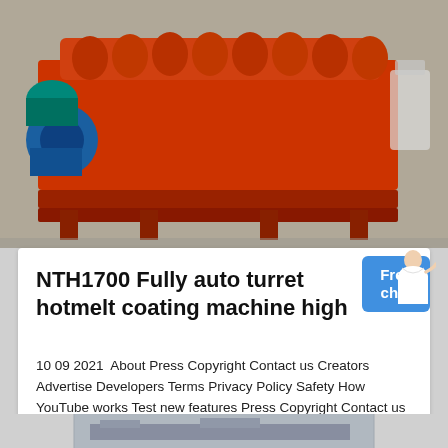[Figure (photo): Industrial orange spiral/screw conveyor or classifier machine in a factory setting. Large red/orange metal machine with blue motor on the left side, spiral auger visible on top.]
NTH1700 Fully auto turret hotmelt coating machine high
10 09 2021  About Press Copyright Contact us Creators Advertise Developers Terms Privacy Policy Safety How YouTube works Test new features Press Copyright Contact us Creators
Click to chat
[Figure (photo): Partial view of another industrial machine, bottom of page.]